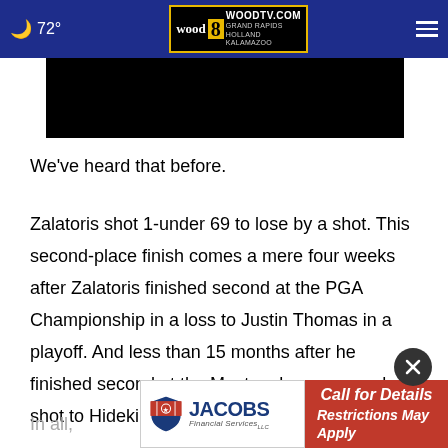72° WOODTV.COM wood8 GRAND RAPIDS HOLLAND KALAMAZOO
[Figure (screenshot): Black video player placeholder]
We've heard that before.
Zalatoris shot 1-under 69 to lose by a shot. This second-place finish comes a mere four weeks after Zalatoris finished second at the PGA Championship in a loss to Justin Thomas in a playoff. And less than 15 months after he finished second at the Masters by one measly shot to Hideki Matsuyama.
In all, …majors since Zalatoris made his debut at the U.S. Open at
[Figure (other): Jacobs Financial Services advertisement banner with red Call for Details Restrictions May Apply CTA]